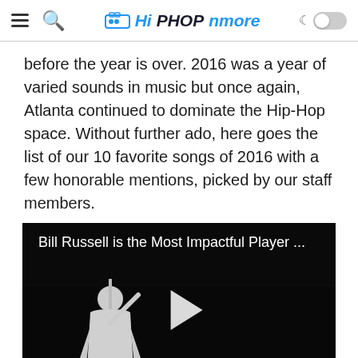HiPHOPnmore
before the year is over. 2016 was a year of varied sounds in music but once again, Atlanta continued to dominate the Hip-Hop space. Without further ado, here goes the list of our 10 favorite songs of 2016 with a few honorable mentions, picked by our staff members.
[Figure (screenshot): Video player showing a dark scene with a person in white clothing. Title reads 'Bill Russell is the Most Impactful Player ...' with a play button in the center and SI RN logo at bottom left.]